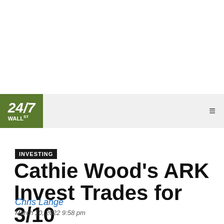[Figure (logo): 24/7 Wall St logo - green square with white bold italic text]
INVESTING
Cathie Wood's ARK Invest Trades for 3/10
Chris Lange
March 10, 2022 9:58 pm